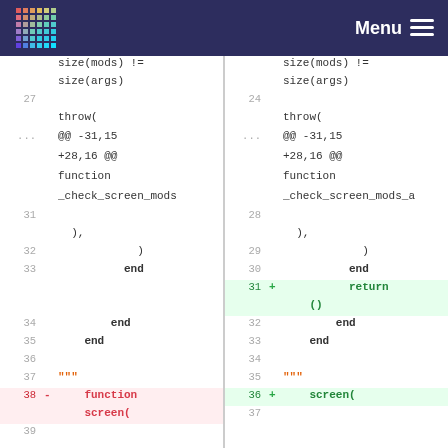Menu
[Figure (screenshot): Code diff view showing two side-by-side panels with line numbers and diff markers. Left panel shows old code, right panel shows new code with additions highlighted in green and removals in red/pink.]